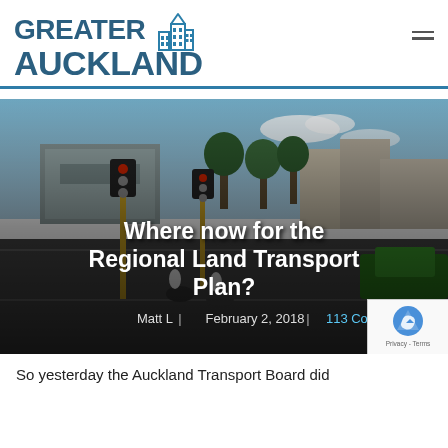[Figure (logo): Greater Auckland logo — bold dark blue uppercase text 'GREATER AUCKLAND' with a building/city icon, with a horizontal divider line below]
[Figure (photo): Street intersection photo with cyclists and traffic signals, overlaid with white bold text reading 'Where now for the Regional Land Transport Plan?' and metadata 'Matt L | February 2, 2018 | 113 Comments']
So yesterday the Auckland Transport Board did